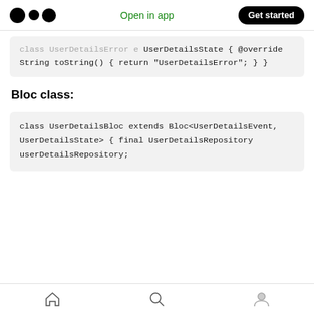Open in app | Get started
[Figure (screenshot): Code block showing UserDetailsState class with @override String toString() returning UserDetailsError]
Bloc class:
[Figure (screenshot): Code block showing class UserDetailsBloc extends Bloc<UserDetailsEvent, UserDetailsState> with final UserDetailsRepository userDetailsRepository;]
Home | Search | Profile navigation icons